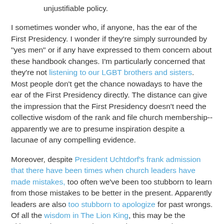unjustifiable policy.
I sometimes wonder who, if anyone, has the ear of the First Presidency. I wonder if they're simply surrounded by "yes men" or if any have expressed to them concern about these handbook changes. I'm particularly concerned that they're not listening to our LGBT brothers and sisters. Most people don't get the chance nowadays to have the ear of the First Presidency directly. The distance can give the impression that the First Presidency doesn't need the collective wisdom of the rank and file church membership--apparently we are to presume inspiration despite a lacunae of any compelling evidence.
Moreover, despite President Uchtdorf's frank admission that there have been times when church leaders have made mistakes, too often we've been too stubborn to learn from those mistakes to be better in the present. Apparently leaders are also too stubborn to apologize for past wrongs. Of all the wisdom in The Lion King, this may be the ultimate: "The past can hurt. But the way I see it, you can either run from it, or learn from it."